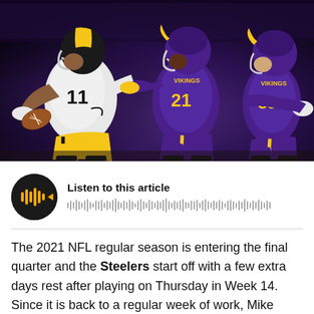[Figure (photo): NFL action photo: Pittsburgh Steelers player #11 in white and yellow uniform runs with football while Minnesota Vikings players #21 and #59 in purple and gold uniforms attempt to tackle him in a stadium setting.]
Listen to this article
The 2021 NFL regular season is entering the final quarter and the Steelers start off with a few extra days rest after playing on Thursday in Week 14. Since it is back to a regular week of work, Mike Tomlin held his